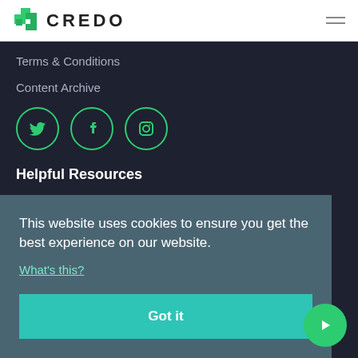CREDO
Terms & Conditions
Content Archive
[Figure (illustration): Three green-outlined social media icon circles: Twitter bird, Facebook f, and Instagram camera]
Helpful Resources
This website uses cookies to ensure you get the best experience on our website. What's this?
Got it